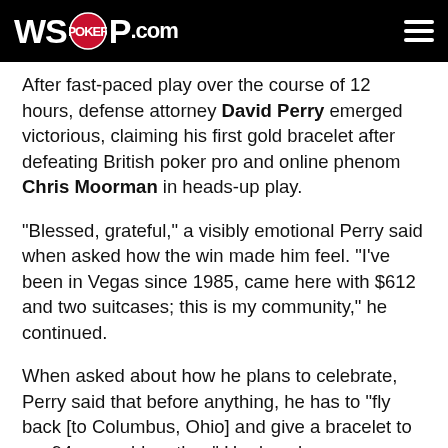WSOP.COM
After fast-paced play over the course of 12 hours, defense attorney David Perry emerged victorious, claiming his first gold bracelet after defeating British poker pro and online phenom Chris Moorman in heads-up play.
"Blessed, grateful," a visibly emotional Perry said when asked how the win made him feel. "I've been in Vegas since 1985, came here with $612 and two suitcases; this is my community," he continued.
When asked about how he plans to celebrate, Perry said that before anything, he has to "fly back [to Columbus, Ohio] and give a bracelet to my 94-year-old mother." He does have some plans for the money though, saying that while normally he would fire a bullet in the $1,000 Seniors Event, he may choose instead to take his chances in the $10,000 Main Event, saying that while he could "never have rationalized or justified it in the past." This win has